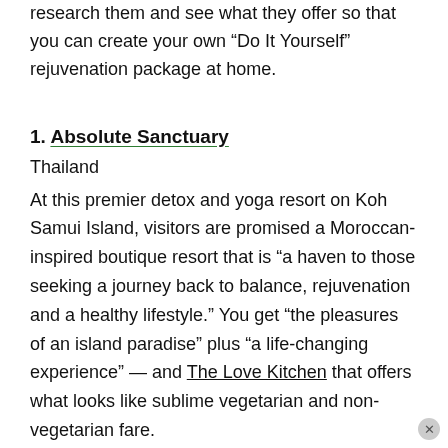research them and see what they offer so that you can create your own “Do It Yourself” rejuvenation package at home.
1. Absolute Sanctuary
Thailand
At this premier detox and yoga resort on Koh Samui Island, visitors are promised a Moroccan-inspired boutique resort that is “a haven to those seeking a journey back to balance, rejuvenation and a healthy lifestyle.” You get “the pleasures of an island paradise” plus “a life-changing experience” — and The Love Kitchen that offers what looks like sublime vegetarian and non-vegetarian fare.
2. Brookdale Health Hydro